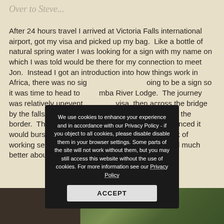Over to Steve...
After 24 hours travel I arrived at Victoria Falls international airport, got my visa and picked up my bag.  Like a bottle of natural spring water I was looking for a sign with my name on which I was told would be there for my connection to meet Jon.  Instead I got an introduction into how things work in Africa, there was no sign and there was going to be a sign so it was time to head to Marambe River Lodge.  The journey was relatively uneventful, a Zim visa, then across the bridge by the falls and a Zambian visa on the other side of the border.  The taxi was genuinely old and I was convinced it would burst into flames at any moment and the lack of working seatbelts didn't make me automatically feel much better about that... #RoadSafetyMatters
[Figure (screenshot): Cookie consent modal overlay with dark background. Text reads: 'We use cookies to enhance your experience and in accordance with our Privacy Policy - if you object to all cookies, please disable disable them in your browser settings. Some parts of the site will not work without them, but you may still access this website without the use of cookies. For more information see our Privacy Policy' with an ACCEPT button.]
[Figure (photo): Photo strip at bottom showing outdoor nature/foliage scene on right side and dark area on left side.]